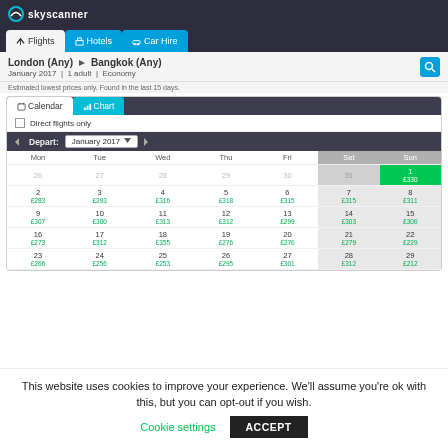[Figure (screenshot): Skyscanner website screenshot showing flight search calendar for London (Any) to Bangkok (Any), January 2017, 1 adult, Economy. Calendar shows prices for each day in January 2017.]
This website uses cookies to improve your experience. We'll assume you're ok with this, but you can opt-out if you wish.
Cookie settings    ACCEPT